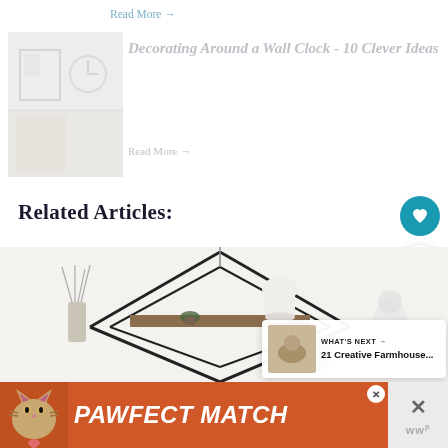Read More →
[Figure (photo): Interior room with a wall clock, shelving and decor items - faded/ghosted image]
Decorating Around a Wall Clock - 10 Clever Ideas
Read More →
Related Articles:
[Figure (photo): Decorative wall hanging shelf with geometric triangle design, reed diffuser, small succulent, white pitcher, and teal pumpkin decoration on white background]
WHAT'S NEXT → 21 Creative Farmhouse...
[Figure (photo): Advertisement banner: PAWFECT MATCH with cat image, orange/red background]